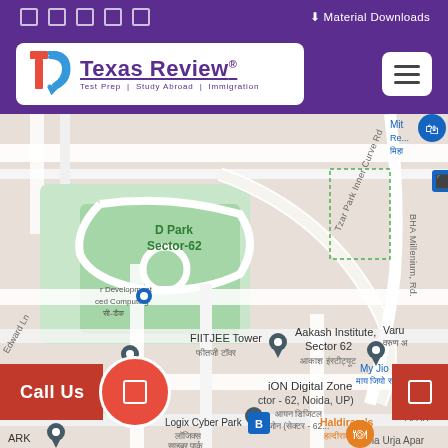Material Downloads
[Figure (logo): Texas Review logo - Test Prep | Study Abroad | Immigration]
[Figure (map): Google Maps view showing Sector-62 Noida area with landmarks: D Park Sector-62, FIITJEE Tower, Aakash Institute Sector 62, iON Digital Zone Sector-62 Noida UP, Logix Cyber Park, Haldiram's, Ushma Urja Apartments. Roads: Tzar Park Inner Curve Rd, BHA Millenium Rd. Hindi text labels visible for multiple locations.]
Call Us